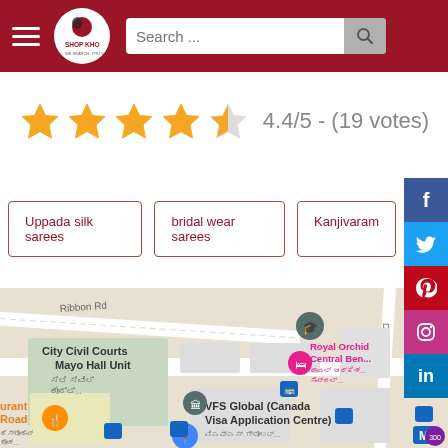Shop Khoj - Search bar header with logo and search input
4.4/5 - (19 votes)
Uppada silk sarees
bridal wear sarees
Kanjivaram
[Figure (map): Google Maps view showing City Civil Courts Mayo Hall Unit, VFS Global Canada Visa Application Centre, Royal Orchid Central Bengaluru, and surrounding streets including Ribbon Road and Dick Road in Bangalore.]